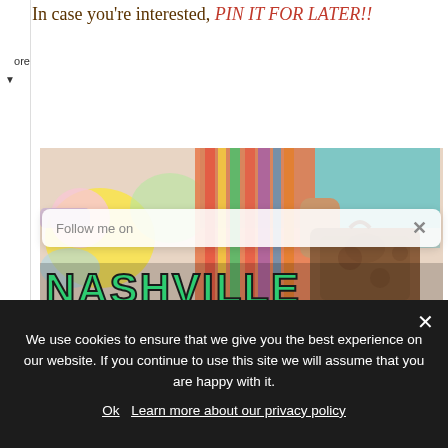In case you're interested, PIN IT FOR LATER!!
[Figure (photo): Person holding a brown tooled leather suitcase, wearing a colorful serape/striped poncho, standing in front of a colorful mural. Large green bold text 'NASHVILLE' overlaid at the bottom of the image. A semi-transparent popup says 'Follow me on' with an X dismiss button.]
We use cookies to ensure that we give you the best experience on our website. If you continue to use this site we will assume that you are happy with it.
Ok   Learn more about our privacy policy